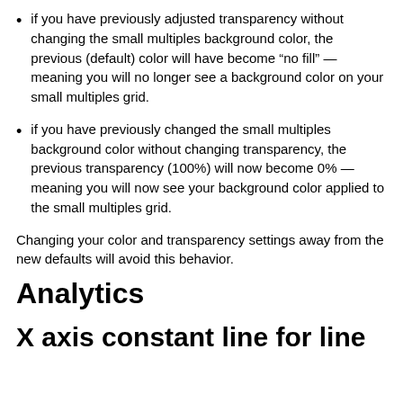if you have previously adjusted transparency without changing the small multiples background color, the previous (default) color will have become “no fill” — meaning you will no longer see a background color on your small multiples grid.
if you have previously changed the small multiples background color without changing transparency, the previous transparency (100%) will now become 0% — meaning you will now see your background color applied to the small multiples grid.
Changing your color and transparency settings away from the new defaults will avoid this behavior.
Analytics
X axis constant line for line